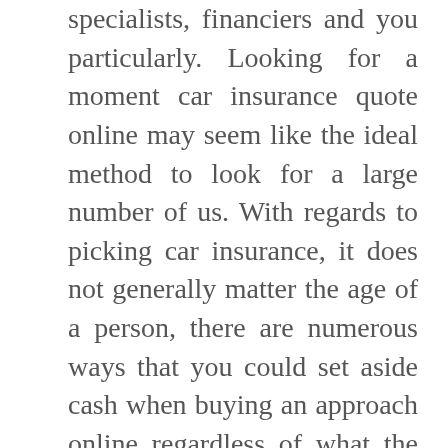specialists, financiers and you particularly. Looking for a moment car insurance quote online may seem like the ideal method to look for a large number of us. With regards to picking car insurance, it does not generally matter the age of a person, there are numerous ways that you could set aside cash when buying an approach online regardless of what the conditions. Looking is fundamental in discovering seized car insurance regardless of how you decide to look, yet it is particularly significant while looking for seized car insurance on the web. When looking for seized car insurance on the web, ensure your inquiry is an